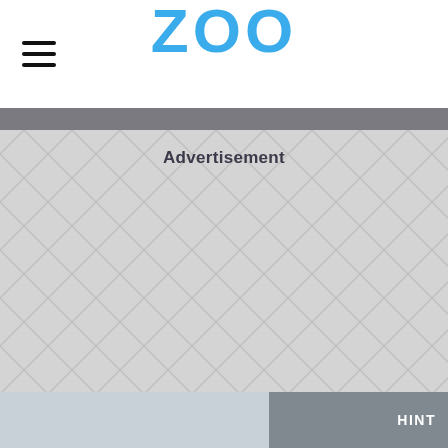ZOO
Advertisement
[Figure (other): Advertisement placeholder area with herringbone/diamond pattern background in light grey]
[Figure (photo): Bottom strip showing partial photos with HINT label on right side]